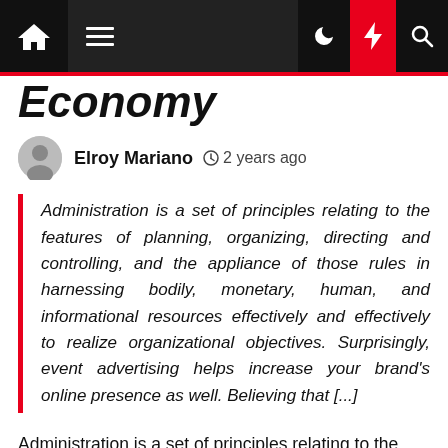Economy
Elroy Mariano  2 years ago
Administration is a set of principles relating to the features of planning, organizing, directing and controlling, and the appliance of those rules in harnessing bodily, monetary, human, and informational resources effectively and effectively to realize organizational objectives. Surprisingly, event advertising helps increase your brand's online presence as well. Believing that [...]
Administration is a set of principles relating to the features of planning, organizing, directing and controlling, and the appliance of those rules in harnessing bodily, monetary, human, and